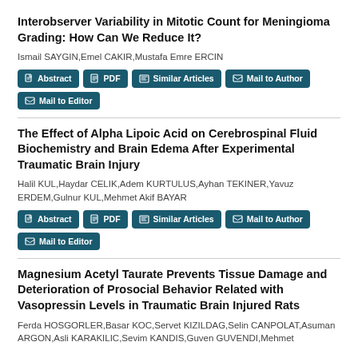Interobserver Variability in Mitotic Count for Meningioma Grading: How Can We Reduce It?
Ismail SAYGIN,Emel CAKIR,Mustafa Emre ERCIN
Abstract | PDF | Similar Articles | Mail to Author | Mail to Editor
The Effect of Alpha Lipoic Acid on Cerebrospinal Fluid Biochemistry and Brain Edema After Experimental Traumatic Brain Injury
Halil KUL,Haydar CELIK,Adem KURTULUS,Ayhan TEKINER,Yavuz ERDEM,Gulnur KUL,Mehmet Akif BAYAR
Abstract | PDF | Similar Articles | Mail to Author | Mail to Editor
Magnesium Acetyl Taurate Prevents Tissue Damage and Deterioration of Prosocial Behavior Related with Vasopressin Levels in Traumatic Brain Injured Rats
Ferda HOSGORLER,Basar KOC,Servet KIZILDAG,Selin CANPOLAT,Asuman ARGON,Asli KARAKILIC,Sevim KANDIS,Guven GUVENDI,Mehmet